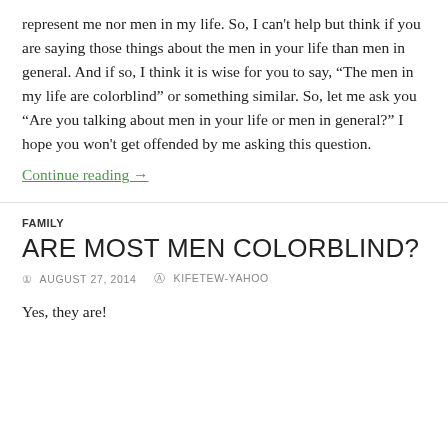represent me nor men in my life. So, I can't help but think if you are saying those things about the men in your life than men in general. And if so, I think it is wise for you to say, “The men in my life are colorblind” or something similar. So, let me ask you “Are you talking about men in your life or men in general?” I hope you won't get offended by me asking this question.
Continue reading →
FAMILY
ARE MOST MEN COLORBLIND?
AUGUST 27, 2014   KIFETEW-YAHOO
Yes, they are!